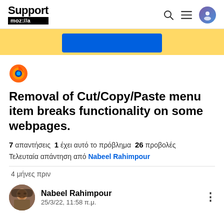Support mozilla.org
[Figure (screenshot): Yellow banner with a blue button partially visible]
[Figure (logo): Firefox browser logo icon (flame globe)]
Removal of Cut/Copy/Paste menu item breaks functionality on some webpages.
7 απαντήσεις  1 έχει αυτό το πρόβλημα  26 προβολές
Τελευταία απάντηση από Nabeel Rahimpour
4 μήνες πριν
Nabeel Rahimpour
25/3/22, 11:58 π.μ.